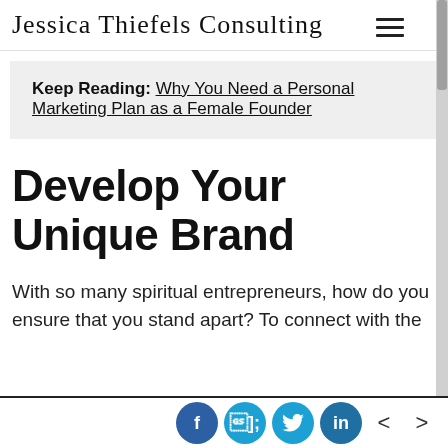Jessica Thiefels Consulting
Keep Reading: Why You Need a Personal Marketing Plan as a Female Founder
Develop Your Unique Brand
With so many spiritual entrepreneurs, how do you ensure that you stand apart? To connect with the